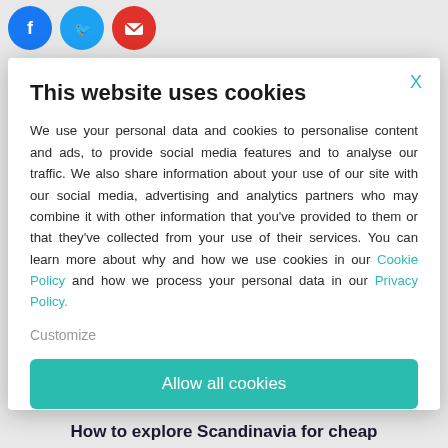[Figure (screenshot): Background showing social media icons (Facebook blue, Twitter blue, email red) at top left, and partially visible article title at bottom]
This website uses cookies
We use your personal data and cookies to personalise content and ads, to provide social media features and to analyse our traffic. We also share information about your use of our site with our social media, advertising and analytics partners who may combine it with other information that you've provided to them or that they've collected from your use of their services. You can learn more about why and how we use cookies in our Cookie Policy and how we process your personal data in our Privacy Policy.
Customize
Allow all cookies
How to explore Scandinavia for cheap